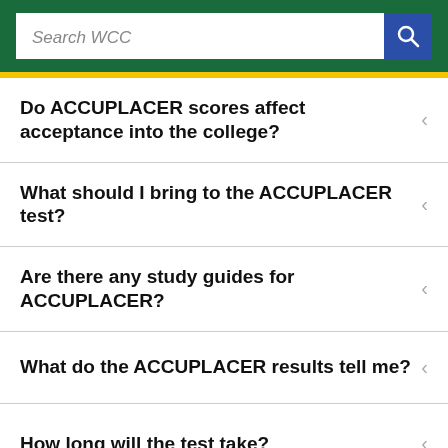[Figure (screenshot): Green header bar with 'Search WCC' search input field and blue search button with magnifying glass icon]
Do ACCUPLACER scores affect acceptance into the college?
What should I bring to the ACCUPLACER test?
Are there any study guides for ACCUPLACER?
What do the ACCUPLACER results tell me?
How long will the test take?